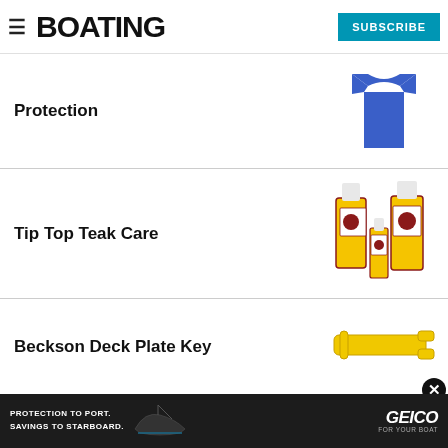BOATING — SUBSCRIBE
Protection
[Figure (photo): Blue t-shirt product photo]
Tip Top Teak Care
[Figure (photo): Tip Top Teak Care product bottles (yellow labels, various sizes)]
Beckson Deck Plate Key
[Figure (photo): Yellow Beckson deck plate key tool]
[Figure (photo): GEICO advertisement banner: PROTECTION TO PORT. SAVINGS TO STARBOARD. GEICO FOR YOUR BOAT with boat silhouette]